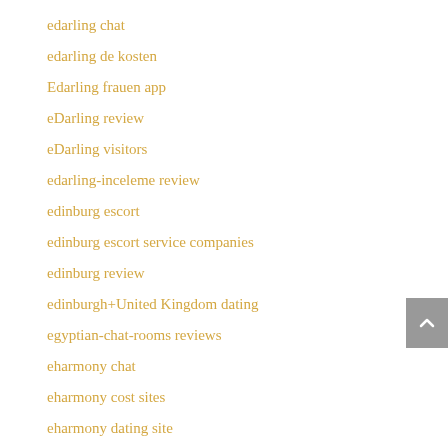edarling chat
edarling de kosten
Edarling frauen app
eDarling review
eDarling visitors
edarling-inceleme review
edinburg escort
edinburg escort service companies
edinburg review
edinburgh+United Kingdom dating
egyptian-chat-rooms reviews
eharmony chat
eharmony cost sites
eharmony dating site
eharmony de kosten